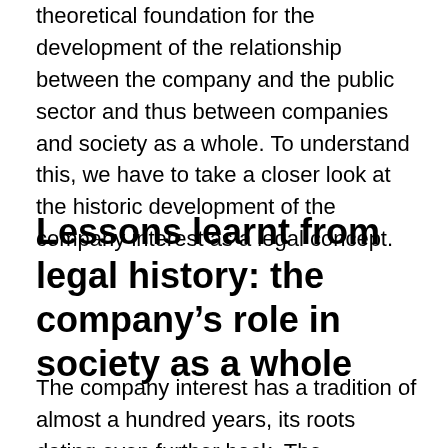theoretical foundation for the development of the relationship between the company and the public sector and thus between companies and society as a whole. To understand this, we have to take a closer look at the historic development of the company interest as a legal concept.
Lessons learnt from legal history: the company's role in society as a whole
The company interest has a tradition of almost a hundred years, its roots dating even further back. The intersection between private and public interests has its origin in ancient Roman law that had been absorbed by German legal scholars since